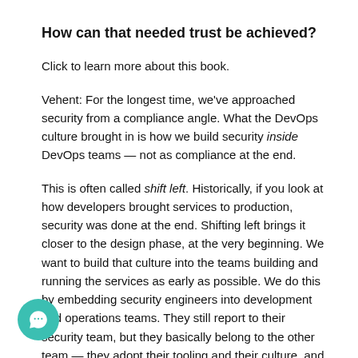How can that needed trust be achieved?
Click to learn more about this book.
Vehent: For the longest time, we've approached security from a compliance angle. What the DevOps culture brought in is how we build security inside DevOps teams — not as compliance at the end.
This is often called shift left. Historically, if you look at how developers brought services to production, security was done at the end. Shifting left brings it closer to the design phase, at the very beginning. We want to build that culture into the teams building and running the services as early as possible. We do this by embedding security engineers into development and operations teams. They still report to their security team, but they basically belong to the other team — they adopt their tooling and their culture, and